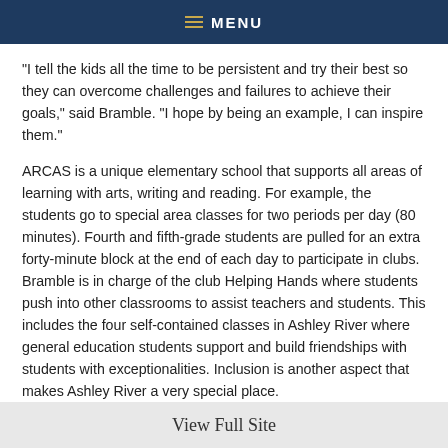MENU
“I tell the kids all the time to be persistent and try their best so they can overcome challenges and failures to achieve their goals,” said Bramble. “I hope by being an example, I can inspire them.”
ARCAS is a unique elementary school that supports all areas of learning with arts, writing and reading. For example, the students go to special area classes for two periods per day (80 minutes). Fourth and fifth-grade students are pulled for an extra forty-minute block at the end of each day to participate in clubs. Bramble is in charge of the club Helping Hands where students push into other classrooms to assist teachers and students. This includes the four self-contained classes in Ashley River where general education students support and build friendships with students with exceptionalities. Inclusion is another aspect that makes Ashley River a very special place.
“The success of our students just goes to show how well infusing the arts works,” said Bramble. “It makes all the difference. I try to focus on various forms of learning as well. My lessons are adapted
View Full Site